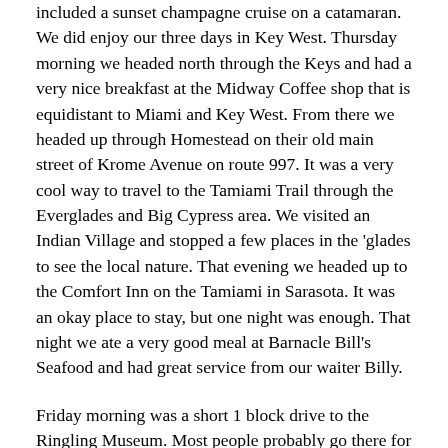included a sunset champagne cruise on a catamaran. We did enjoy our three days in Key West. Thursday morning we headed north through the Keys and had a very nice breakfast at the Midway Coffee shop that is equidistant to Miami and Key West. From there we headed up through Homestead on their old main street of Krome Avenue on route 997. It was a very cool way to travel to the Tamiami Trail through the Everglades and Big Cypress area. We visited an Indian Village and stopped a few places in the 'glades to see the local nature. That evening we headed up to the Comfort Inn on the Tamiami in Sarasota. It was an okay place to stay, but one night was enough. That night we ate a very good meal at Barnacle Bill's Seafood and had great service from our waiter Billy.
Friday morning was a short 1 block drive to the Ringling Museum. Most people probably go there for the art, but I was there mainly for the Circus exhibits. Since I had last visited in 1958 things had changed again. There is now an amazing miniature circus exhibit in a whole new building. This new Tibbals Learning Center was an amazing 1/16 scale of 8 main tents, 152 wagons, 800 animals, and a 59-car train and occupies 3,800 square feet. A film in the Asolo Theater which was originally built in Asolo Italy in 1798 told the history of the Ringling Brothers, and especially John and